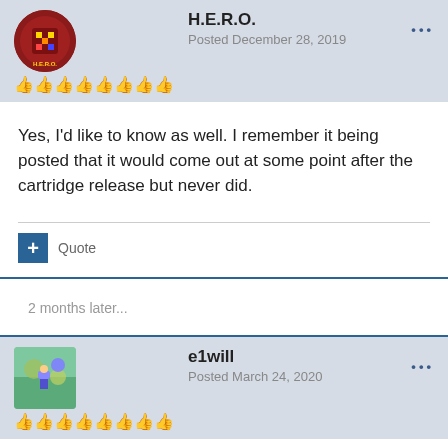H.E.R.O. — Posted December 28, 2019
Yes, I'd like to know as well. I remember it being posted that it would come out at some point after the cartridge release but never did.
2 months later...
e1will — Posted March 24, 2020